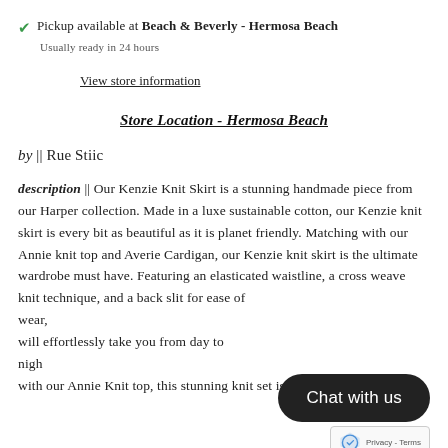✓ Pickup available at Beach & Beverly - Hermosa Beach
Usually ready in 24 hours
View store information
Store Location - Hermosa Beach
by || Rue Stiic
description || Our Kenzie Knit Skirt is a stunning handmade piece from our Harper collection. Made in a luxe sustainable cotton, our Kenzie knit skirt is every bit as beautiful as it is planet friendly. Matching with our Annie knit top and Averie Cardigan, our Kenzie knit skirt is the ultimate wardrobe must have. Featuring an elasticated waistline, a cross weave knit technique, and a back slit for ease of wear, will effortlessly take you from day to nigh with our Annie Knit top, this stunning knit set is the ult